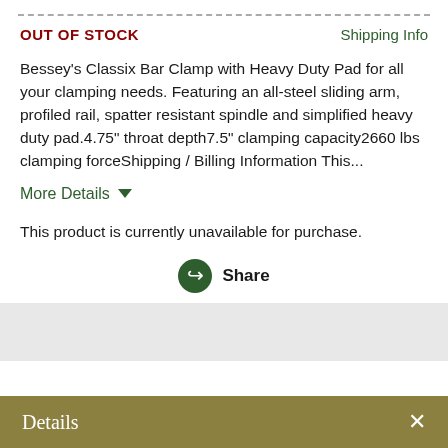OUT OF STOCK
Shipping Info
Bessey's Classix Bar Clamp with Heavy Duty Pad for all your clamping needs. Featuring an all-steel sliding arm, profiled rail, spatter resistant spindle and simplified heavy duty pad.4.75" throat depth7.5" clamping capacity2660 lbs clamping forceShipping / Billing Information This...
More Details
This product is currently unavailable for purchase.
Share
Details